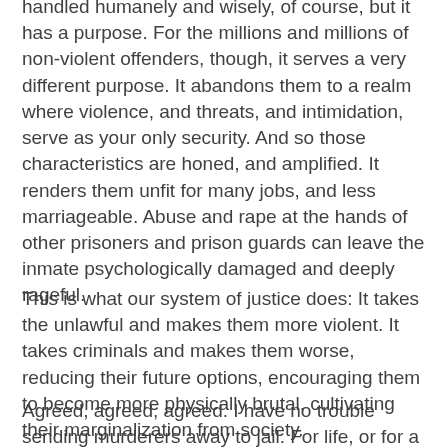handled humanely and wisely, of course, but it has a purpose. For the millions and millions of non-violent offenders, though, it serves a very different purpose. It abandons them to a realm where violence, and threats, and intimidation, serve as your only security. And so those characteristics are honed, and amplified. It renders them unfit for many jobs, and less marriageable. Abuse and rape at the hands of other prisoners and prison guards can leave the inmate psychologically damaged and deeply rageful.
This is what our system of justice does: It takes the unlawful and makes them more violent. It takes criminals and makes them worse, reducing their future options, encouraging them to become more physically brutal, cultivating their marginalization from society.
Agreed, agreed, agreed. I have no trouble sending murderers away to jail. For life, or for a long, long time. But